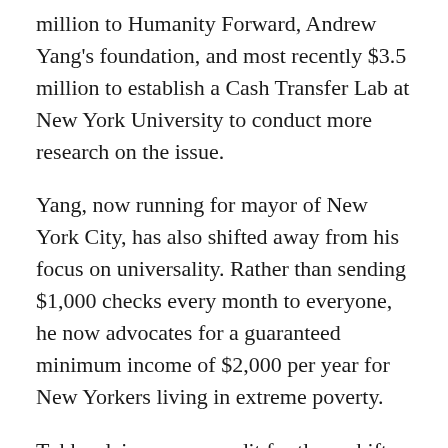million to Humanity Forward, Andrew Yang's foundation, and most recently $3.5 million to establish a Cash Transfer Lab at New York University to conduct more research on the issue.
Yang, now running for mayor of New York City, has also shifted away from his focus on universality. Rather than sending $1,000 checks every month to everyone, he now advocates for a guaranteed minimum income of $2,000 per year for New Yorkers living in extreme poverty.
Tubbs claims some credit for these shifts. He recalls a conversation with Dorsey in which he told the billionaire, “It’s gonna take time to get to universality, but it’s urgent that we do guaranteed income… So look, we’re not going to … test a UBI. We can test the income guarantee. Let’s start there.”
(partial line continues below)